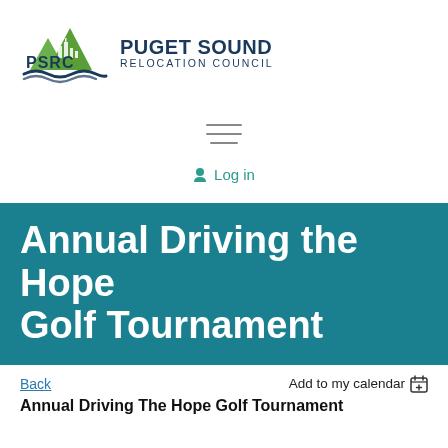[Figure (logo): PSRC Puget Sound Relocation Council logo with mountain and city skyline graphic in green and dark blue]
PUGET SOUND RELOCATION COUNCIL
[Figure (other): Hamburger menu icon (three horizontal lines)]
Log in
Annual Driving the Hope Golf Tournament
Back
Add to my calendar
Annual Driving The Hope Golf Tournament